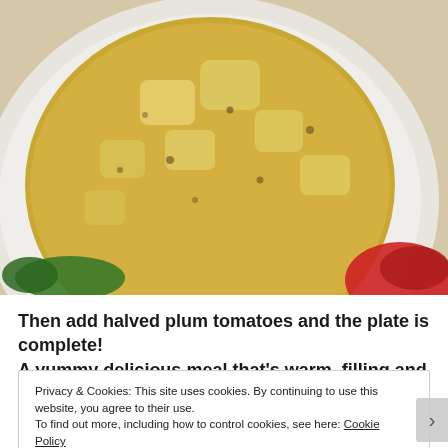[Figure (photo): Close-up photo of a white bowl filled with a yellow-golden curry or soup with chunks of paneer/potato, surrounded by green chili peppers on the left and a red bowl on the bottom right, on a white surface.]
Then add halved plum tomatoes and the plate is complete! A yummy delicious meal that's warm, filling and neat!
Privacy & Cookies: This site uses cookies. By continuing to use this website, you agree to their use.
To find out more, including how to control cookies, see here: Cookie Policy